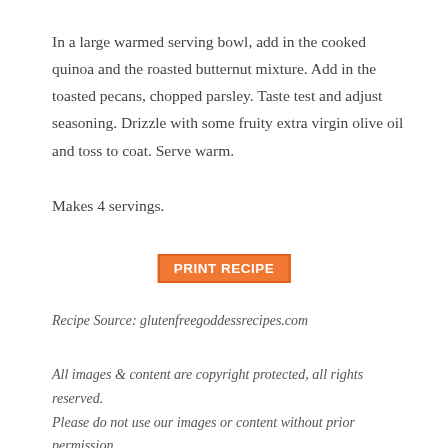In a large warmed serving bowl, add in the cooked quinoa and the roasted butternut mixture. Add in the toasted pecans, chopped parsley. Taste test and adjust seasoning. Drizzle with some fruity extra virgin olive oil and toss to coat. Serve warm.
Makes 4 servings.
PRINT RECIPE
Recipe Source: glutenfreegoddessrecipes.com
All images & content are copyright protected, all rights reserved. Please do not use our images or content without prior permission. Thank you.